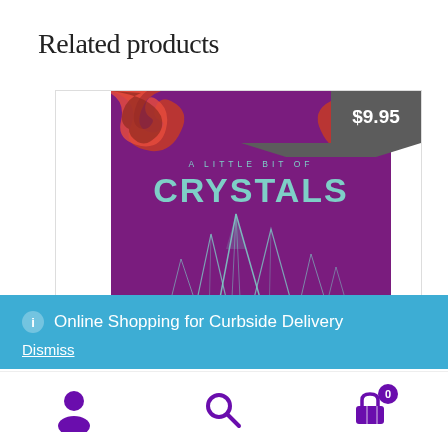Related products
[Figure (photo): Book cover of 'A Little Bit of Crystals' on a purple/magenta background with teal crystal illustrations and red decorative filigree at top, with a $9.95 price tag in the top right corner.]
Online Shopping for Curbside Delivery
Dismiss